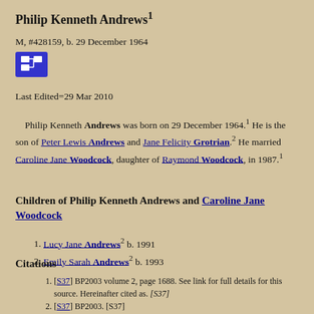Philip Kenneth Andrews¹
M, #428159, b. 29 December 1964
Last Edited=29 Mar 2010
Philip Kenneth Andrews was born on 29 December 1964.¹ He is the son of Peter Lewis Andrews and Jane Felicity Grotrian.² He married Caroline Jane Woodcock, daughter of Raymond Woodcock, in 1987.¹
Children of Philip Kenneth Andrews and Caroline Jane Woodcock
Lucy Jane Andrews² b. 1991
Emily Sarah Andrews² b. 1993
Citations
[S37] BP2003 volume 2, page 1688. See link for full details for this source. Hereinafter cited as. [S37]
[S37] BP2003. [S37]